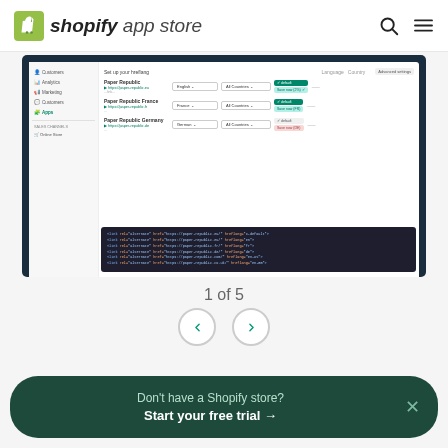[Figure (screenshot): Shopify App Store header with logo, search icon, and hamburger menu]
[Figure (screenshot): Screenshot of a Shopify app (Paper Republic) settings page showing language/country configuration rows and a code popup with hreflang link tags]
1 of 5
[Figure (other): Navigation arrows (left chevron and right chevron) to cycle through screenshots]
Don't have a Shopify store? Start your free trial →